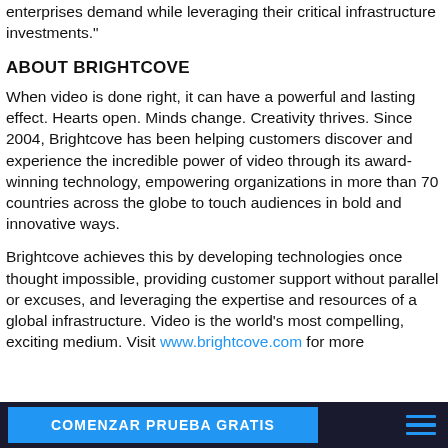enterprises demand while leveraging their critical infrastructure investments."
ABOUT BRIGHTCOVE
When video is done right, it can have a powerful and lasting effect. Hearts open. Minds change. Creativity thrives. Since 2004, Brightcove has been helping customers discover and experience the incredible power of video through its award-winning technology, empowering organizations in more than 70 countries across the globe to touch audiences in bold and innovative ways.
Brightcove achieves this by developing technologies once thought impossible, providing customer support without parallel or excuses, and leveraging the expertise and resources of a global infrastructure. Video is the world's most compelling, exciting medium. Visit www.brightcove.com for more
COMENZAR PRUEBA GRATIS